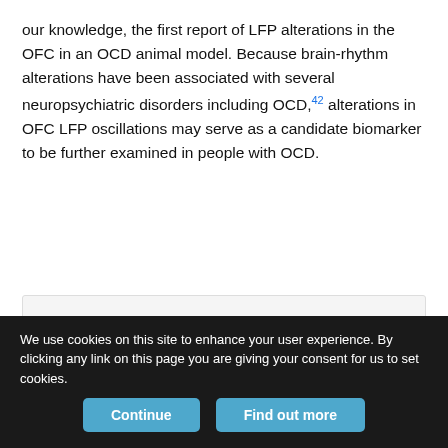our knowledge, the first report of LFP alterations in the OFC in an OCD animal model. Because brain-rhythm alterations have been associated with several neuropsychiatric disorders including OCD,42 alterations in OFC LFP oscillations may serve as a candidate biomarker to be further examined in people with OCD.
[Figure (other): Partially visible figure box with light gray background, cropped at bottom of visible area]
We use cookies on this site to enhance your user experience. By clicking any link on this page you are giving your consent for us to set cookies.